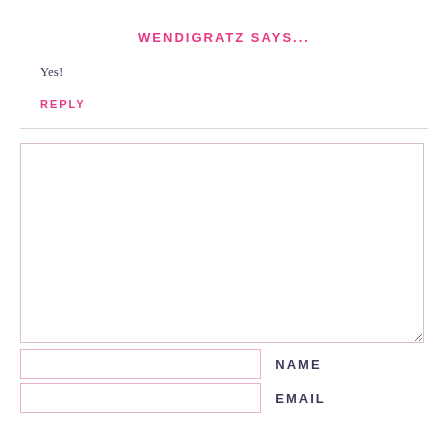WENDIGRATZ SAYS...
Yes!
REPLY
[Figure (other): Comment form with textarea and input fields for Name and Email]